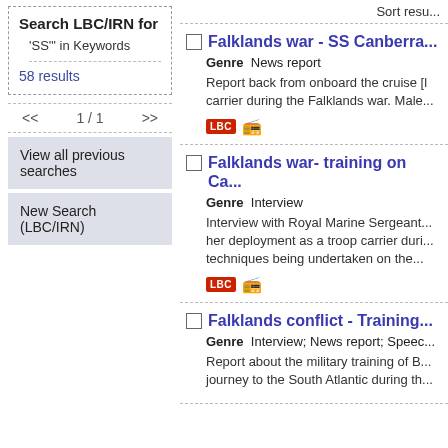Search LBC/IRN for
'SS'' in Keywords
58 results
<< 1 / 1 >>
View all previous searches
New Search (LBC/IRN)
Sort resu...
Falklands war - SS Canberra...
Genre  News report
Report back from onboard the cruise [liner/troop] carrier during the Falklands war. Male...
Falklands war- training on Ca...
Genre  Interview
Interview with Royal Marine Sergeant... her deployment as a troop carrier duri... techniques being undertaken on the...
Falklands conflict - Training...
Genre  Interview; News report; Speec...
Report about the military training of B... journey to the South Atlantic during th...